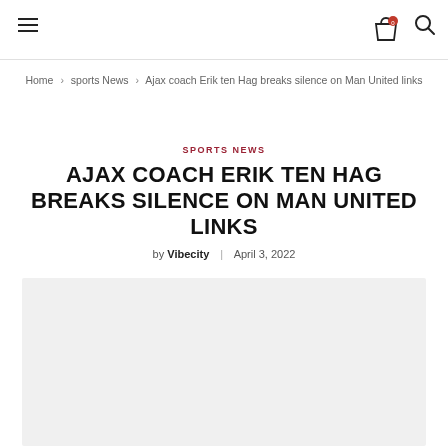≡  🛒 0  🔍
Home › sports News › Ajax coach Erik ten Hag breaks silence on Man United links
SPORTS NEWS
AJAX COACH ERIK TEN HAG BREAKS SILENCE ON MAN UNITED LINKS
by Vibecity  |  April 3, 2022
[Figure (photo): Light gray placeholder image area for article photo]